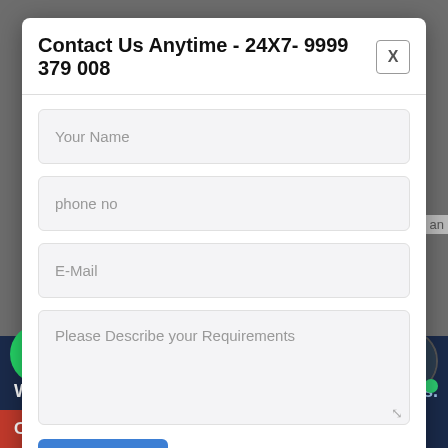Contact Us Anytime - 24X7- 9999 379 008
Your Name
phone no
E-Mail
Please Describe your Requirements
Submit
Hi.. I am Aditya, Your Advisor, Please suggest your...
We We Provide
Call Us Now
ernational Cities